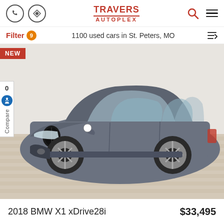TRAVERS AUTOPLEX
Filter 9    1100 used cars in St. Peters, MO
[Figure (photo): Gray 2018 BMW X1 xDrive28i SUV photographed in a showroom with wood-look flooring and white walls. A red 'NEW' badge is visible in the top-left corner. A 'Compare' tab with accessibility icon and the number 0 is on the left side.]
2018 BMW X1 xDrive28i    $33,495